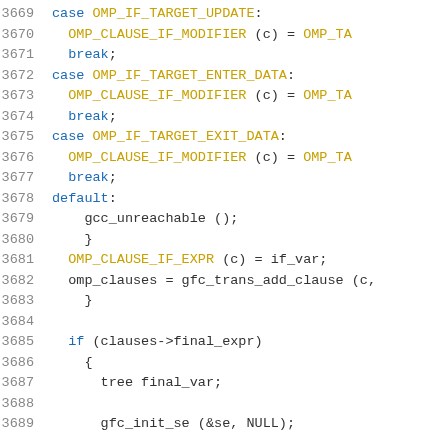[Figure (screenshot): Source code listing (C/C++) showing lines 3669-3689 with syntax highlighting. Line numbers in grey, keywords in blue, macros in gold/yellow, identifiers in dark grey.]